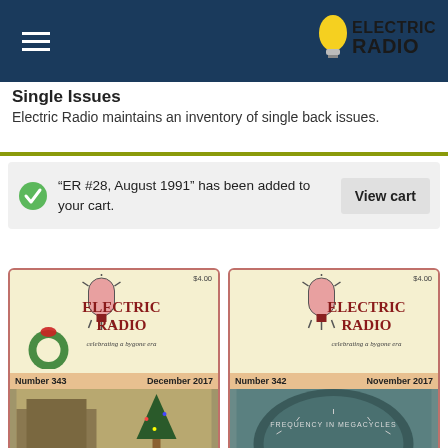Electric Radio — Single Issues
Single issues
Electric Radio maintains an inventory of single back issues.
“ER #28, August 1991” has been added to your cart.
[Figure (screenshot): Two Electric Radio magazine covers side by side. Left: Number 343, December 2017. Right: Number 342, November 2017. Each shows a vacuum tube illustration and text 'ELECTRIC RADIO celebrating a bygone era'. Price $4.00 each.]